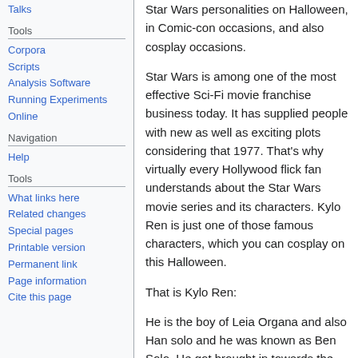Talks
Tools
Corpora
Scripts
Analysis Software
Running Experiments Online
Navigation
Help
Tools
What links here
Related changes
Special pages
Printable version
Permanent link
Page information
Cite this page
Star Wars personalities on Halloween, in Comic-con occasions, and also cosplay occasions.
Star Wars is among one of the most effective Sci-Fi movie franchise business today. It has supplied people with new as well as exciting plots considering that 1977. That's why virtually every Hollywood flick fan understands about the Star Wars movie series and its characters. Kylo Ren is just one of those famous characters, which you can cosplay on this Halloween.
That is Kylo Ren:
He is the boy of Leia Organa and also Han solo and he was known as Ben Solo. He got brought in towards the dark